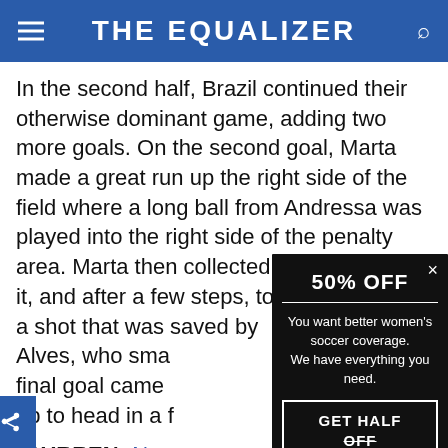THE EQUALIZER
In the second half, Brazil continued their otherwise dominant game, adding two more goals. On the second goal, Marta made a great run up the right side of the field where a long ball from Andressa was played into the right side of the penalty area. Marta then collected and controlled it, and after a few steps, took a shot that was saved by Alves, who sma... final goal came ... up to head in a f...
{CURREN: No n...
The Brazilians' s... em absolutel...
[Figure (screenshot): Popup advertisement overlay on article. Shows '50% OFF' in large bold white text on black background, a horizontal white divider line, body text 'You want better women's soccer coverage. We have everything you need.', and a bordered button 'GET HALF OFF' with OFF struck through.]